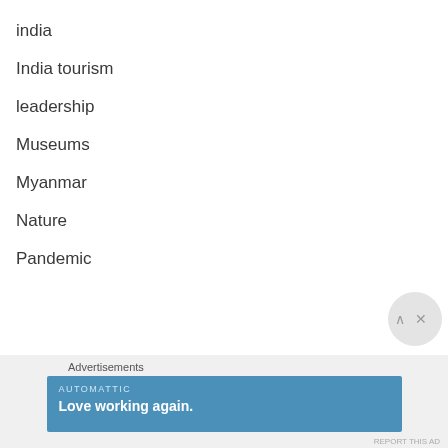india
India tourism
leadership
Museums
Myanmar
Nature
Pandemic
Advertisements
[Figure (other): Automattic advertisement banner with text 'Love working again.']